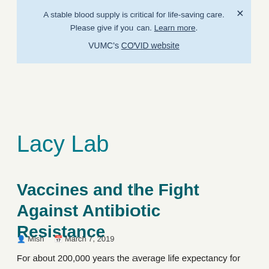A stable blood supply is critical for life-saving care. Please give if you can. Learn more.

VUMC's COVID website
Lacy Lab
Vaccines and the Fight Against Antibiotic Resistance
Mish   March 7, 2019
For about 200,000 years the average life expectancy for humans was around 30 years. However, within the last one hundred years the known life expectancy has increased